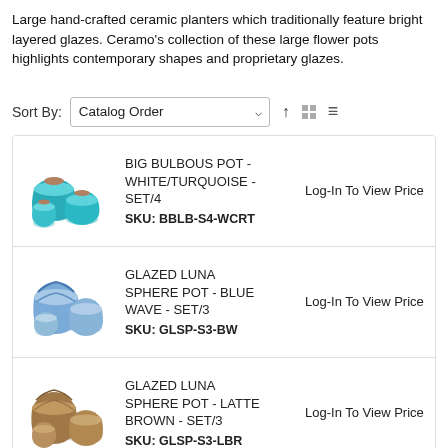Large hand-crafted ceramic planters which traditionally feature bright layered glazes. Ceramo's collection of these large flower pots highlights contemporary shapes and proprietary glazes.
Sort By: Catalog Order
| Product | Name / SKU | Price |
| --- | --- | --- |
| [image: turquoise bulbous pots] | BIG BULBOUS POT - WHITE/TURQUOISE - SET/4
SKU: BBLB-S4-WCRT | Log-In To View Price |
| [image: blue sphere pots] | GLAZED LUNA SPHERE POT - BLUE WAVE - SET/3
SKU: GLSP-S3-BW | Log-In To View Price |
| [image: latte brown sphere pots] | GLAZED LUNA SPHERE POT - LATTE BROWN - SET/3
SKU: GLSP-S3-LBR | Log-In To View Price |